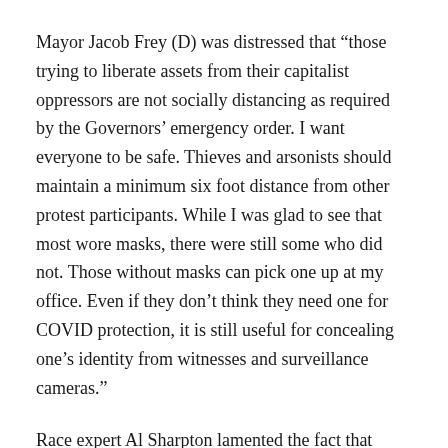Mayor Jacob Frey (D) was distressed that “those trying to liberate assets from their capitalist oppressors are not socially distancing as required by the Governors’ emergency order. I want everyone to be safe. Thieves and arsonists should maintain a minimum six foot distance from other protest participants. While I was glad to see that most wore masks, there were still some who did not. Those without masks can pick one up at my office. Even if they don’t think they need one for COVID protection, it is still useful for concealing one’s identity from witnesses and surveillance cameras.”
Race expert Al Sharpton lamented the fact that “some of the businesses robbed and destroyed were black-owned.